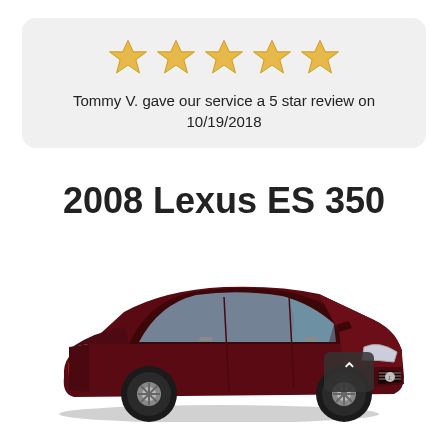[Figure (infographic): Five gold star rating icons in a row inside a light gray rounded card]
Tommy V. gave our service a 5 star review on 10/19/2018
2008 Lexus ES 350
[Figure (photo): Photo of a dark red/maroon 2008 Lexus ES 350 sedan, front three-quarter view, with a small dark scroll-up button in the lower right area of the image]